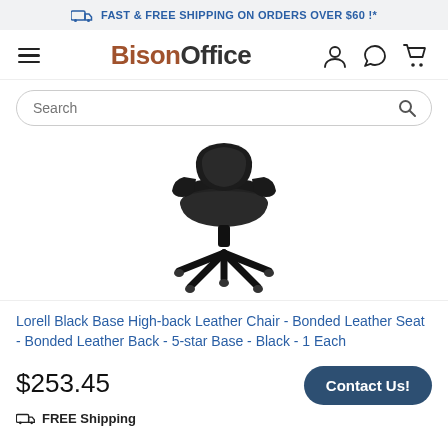FAST & FREE SHIPPING ON ORDERS OVER $60 !*
[Figure (logo): BisonOffice logo with hamburger menu and navigation icons (user, chat, cart)]
[Figure (screenshot): Search bar with placeholder text 'Search' and magnifying glass icon]
[Figure (photo): Photo of a black leather high-back office chair with 5-star base and casters]
Lorell Black Base High-back Leather Chair - Bonded Leather Seat - Bonded Leather Back - 5-star Base - Black - 1 Each
$253.45
FREE Shipping